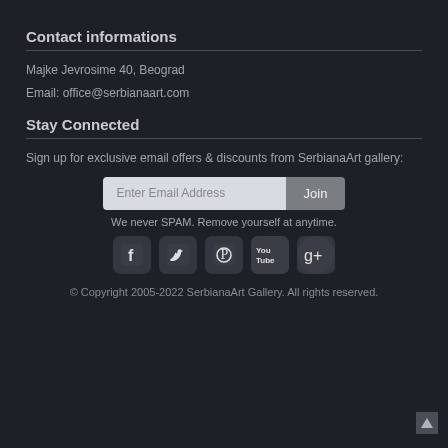Contact informations
Majke Jevrosime 40, Beograd
Email: office@serbianaart.com
Stay Connected
Sign up for exclusive email offers & discounts from SerbianaArt gallery:
[Figure (other): Email signup form with input field 'Enter Email Address' and 'Join' button]
We never SPAM. Remove yourself at anytime.
[Figure (other): Social media icons: Facebook, Twitter, Pinterest, YouTube, Google+]
© Copyright 2005-2022 SerbianaArt Gallery. All rights reserved.